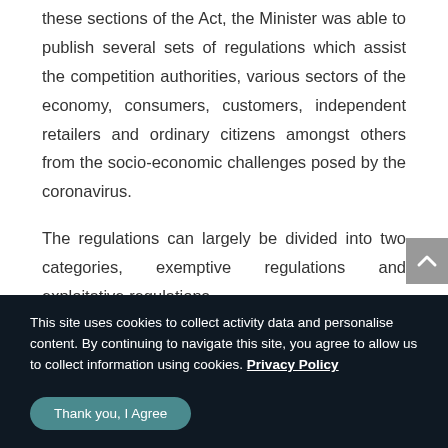these sections of the Act, the Minister was able to publish several sets of regulations which assist the competition authorities, various sectors of the economy, consumers, customers, independent retailers and ordinary citizens amongst others from the socio-economic challenges posed by the coronavirus.
The regulations can largely be divided into two categories, exemptive regulations and exploitative regulations.
This site uses cookies to collect activity data and personalise content. By continuing to navigate this site, you agree to allow us to collect information using cookies. Privacy Policy
Thank you, I Agree